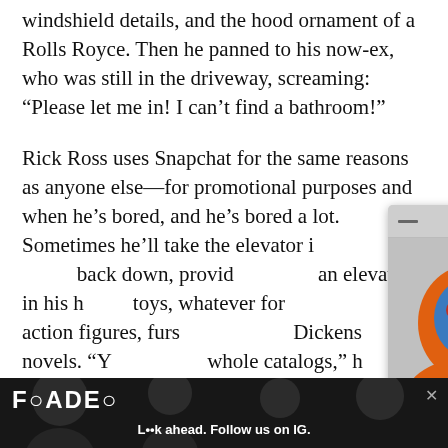windshield details, and the hood ornament of a Rolls Royce. Then he panned to his now-ex, who was still in the driveway, screaming: “Please let me in! I can’t find a bathroom!”
Rick Ross uses Snapchat for the same reasons as anyone else—for promotional purposes and when he’s bored, and he’s bored a lot. Sometimes he’ll take the elevator in back down, provid an elevator in his h toys, whatever for action figures, furs Dickens novels. “Y whole catalogs,” h
[Figure (screenshot): An overlay popup card showing a Top Articles widget from FADER, featuring an image of a person with a blue painted face wearing an orange hoodie, with playback controls and a headline: Jean Dawson announces new album, shares “3 HEADS”]
[Figure (screenshot): Bottom advertisement bar from FADER magazine with dark background, FADER logo, and text: L••k ahead. Follow us on IG.]